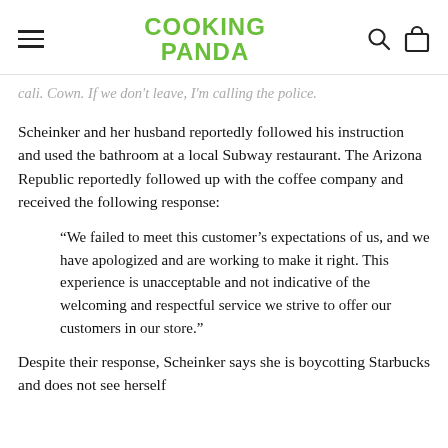COOKING PANDA
cali. Cown. If we don't leave, I'm calling the police.
Scheinker and her husband reportedly followed his instruction and used the bathroom at a local Subway restaurant. The Arizona Republic reportedly followed up with the coffee company and received the following response:
“We failed to meet this customer’s expectations of us, and we have apologized and are working to make it right. This experience is unacceptable and not indicative of the welcoming and respectful service we strive to offer our customers in our store.”
Despite their response, Scheinker says she is boycotting Starbucks and does not see herself